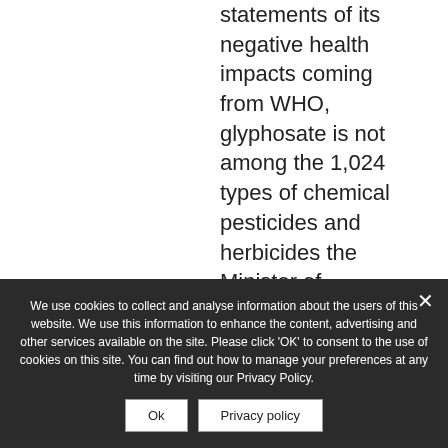statements of its negative health impacts coming from WHO, glyphosate is not among the 1,024 types of chemical pesticides and herbicides the Minister of Agriculture and Development (MARD) have announced as banned. GM Corn and
We use cookies to collect and analyse information about the users of this website. We use this information to enhance the content, advertising and other services available on the site. Please click 'OK' to consent to the use of cookies on this site. You can find out how to manage your preferences at any time by visiting our Privacy Policy.